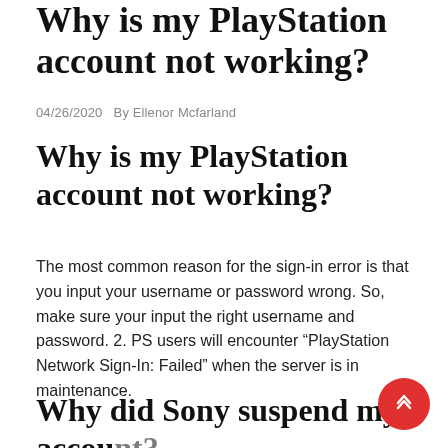Why is my PlayStation account not working?
04/26/2020   By Ellenor Mcfarland
Why is my PlayStation account not working?
The most common reason for the sign-in error is that you input your username or password wrong. So, make sure your input the right username and password. 2. PS users will encounter “PlayStation Network Sign-In: Failed” when the server is in maintenance.
Why did Sony suspend my account?